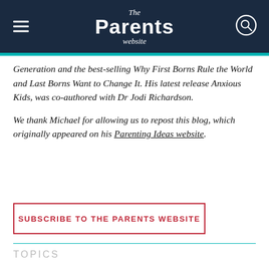The Parents website
Generation and the best-selling Why First Borns Rule the World and Last Borns Want to Change It. His latest release Anxious Kids, was co-authored with Dr Jodi Richardson.
We thank Michael for allowing us to repost this blog, which originally appeared on his Parenting Ideas website.
SUBSCRIBE TO THE PARENTS WEBSITE
TOPICS